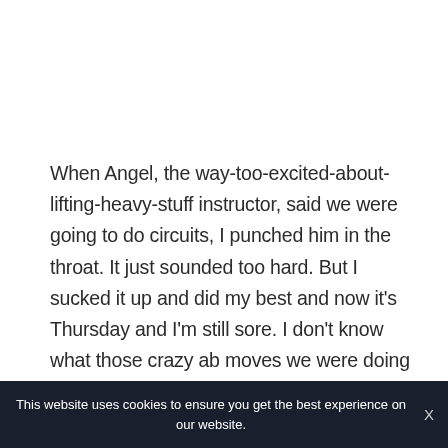When Angel, the way-too-excited-about-lifting-heavy-stuff instructor, said we were going to do circuits, I punched him in the throat. It just sounded too hard. But I sucked it up and did my best and now it's Thursday and I'm still sore. I don't know what those crazy ab moves we were doing are called — I do, however, know that I looked like a beached whale on
This website uses cookies to ensure you get the best experience on our website.